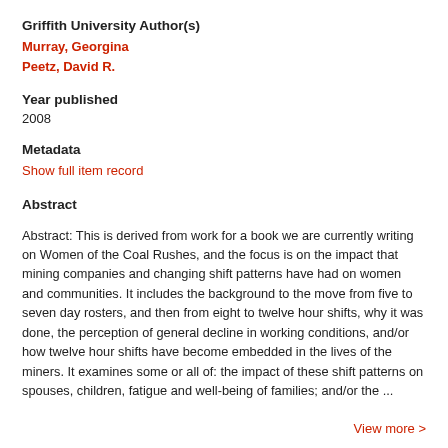Griffith University Author(s)
Murray, Georgina
Peetz, David R.
Year published
2008
Metadata
Show full item record
Abstract
Abstract: This is derived from work for a book we are currently writing on Women of the Coal Rushes, and the focus is on the impact that mining companies and changing shift patterns have had on women and communities. It includes the background to the move from five to seven day rosters, and then from eight to twelve hour shifts, why it was done, the perception of general decline in working conditions, and/or how twelve hour shifts have become embedded in the lives of the miners. It examines some or all of: the impact of these shift patterns on spouses, children, fatigue and well-being of families; and/or the ...
View more >